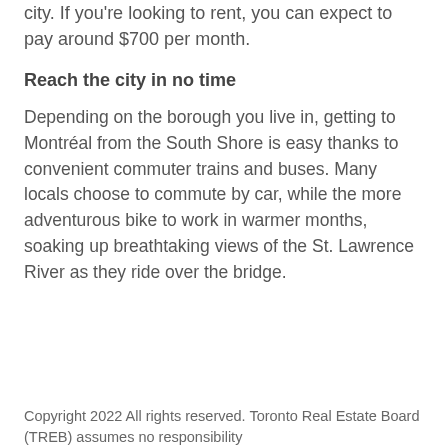city. If you're looking to rent, you can expect to pay around $700 per month.
Reach the city in no time
Depending on the borough you live in, getting to Montréal from the South Shore is easy thanks to convenient commuter trains and buses. Many locals choose to commute by car, while the more adventurous bike to work in warmer months, soaking up breathtaking views of the St. Lawrence River as they ride over the bridge.
Copyright 2022 All rights reserved. Toronto Real Estate Board (TREB) assumes no responsibility